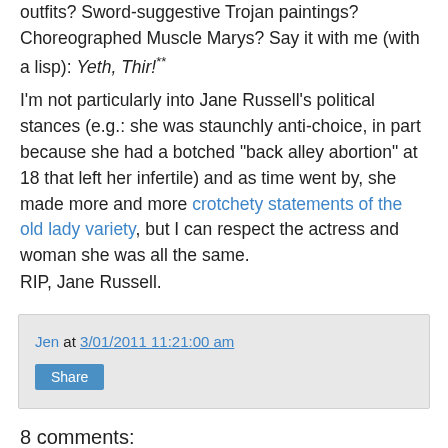outfits? Sword-suggestive Trojan paintings? Choreographed Muscle Marys? Say it with me (with a lisp): Yeth, Thir!**
I'm not particularly into Jane Russell's political stances (e.g.: she was staunchly anti-choice, in part because she had a botched "back alley abortion" at 18 that left her infertile) and as time went by, she made more and more crotchety statements of the old lady variety, but I can respect the actress and woman she was all the same.
RIP, Jane Russell.
Jen at 3/01/2011 11:21:00 am
Share
8 comments:
Anonymous 7:36 pm, March 01, 2011
I loved Jane Russell in that role. Neat to know that the